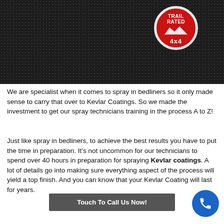[Figure (photo): Close-up photo of a dark textured surface (spray bedliner/Kevlar coating) with a red circular Trail Rated 4x4 badge in the upper right area]
We are specialist when it comes to spray in bedliners so it only made sense to carry that over to Kevlar Coatings.  So we made the investment to get our spray technicians training in the process A to Z!
Just like spray in bedliners, to achieve the best results you have to put the time in preparation.  It's not uncommon for our technicians to spend over 40 hours in preparation for spraying Kevlar coatings.  A lot of details go into making sure everything aspect of the process will yield a top finish.  And you can know that your Kevlar Coating will last for years.